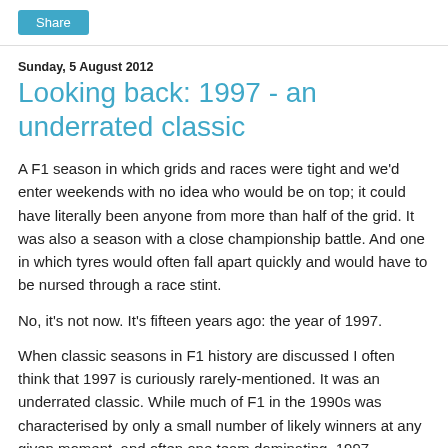Share
Sunday, 5 August 2012
Looking back: 1997 - an underrated classic
A F1 season in which grids and races were tight and we'd enter weekends with no idea who would be on top; it could have literally been anyone from more than half of the grid. It was also a season with a close championship battle. And one in which tyres would often fall apart quickly and would have to be nursed through a race stint.
No, it's not now. It's fifteen years ago: the year of 1997.
When classic seasons in F1 history are discussed I often think that 1997 is curiously rarely-mentioned. It was an underrated classic. While much of F1 in the 1990s was characterised by only a small number of likely winners at any given moment, and often one team dominating, 1997